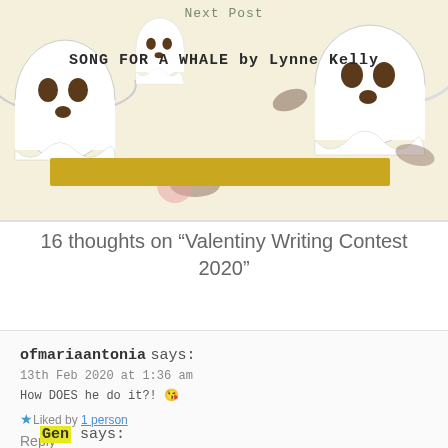Next Post
SONG FOR A WHALE by Lynne Kelly
[Figure (illustration): Halloween ghost illustrations on yellow-cream background with a yellow horizontal bar]
16 thoughts on “Valentiny Writing Contest 2020”
ofmariaantonia says:
13th Feb 2020 at 1:36 am
How DOES he do it?! 😗
★ Liked by 1 person
Reply
Gen says:
13th Feb 2020 at 6:44 pm